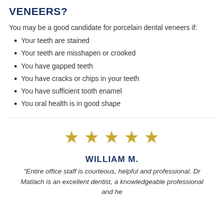VENEERS?
You may be a good candidate for porcelain dental veneers if:
Your teeth are stained
Your teeth are misshapen or crooked
You have gapped teeth
You have cracks or chips in your teeth
You have sufficient tooth enamel
You oral health is in good shape
[Figure (other): Five gold star rating icons]
WILLIAM M.
"Entire office staff is courteous, helpful and professional. Dr Matlach is an excellent dentist, a knowledgeable professional and he